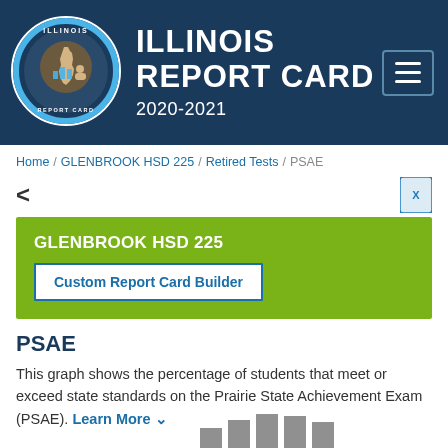[Figure (logo): Illinois Report Card circular logo with Illinois state shape in center, surrounded by blue ring with text ILLINOIS REPORT CARD]
ILLINOIS REPORT CARD 2020-2021
Home / GLENBROOK HSD 225 / Retired Tests / PSAE
GLENBROOK HSD 225
Custom Report Card Builder
PSAE
This graph shows the percentage of students that meet or exceed state standards on the Prairie State Achievement Exam (PSAE). Learn More
[Figure (bar-chart): Partial bar chart visible at bottom of page showing grey bars of varying heights]